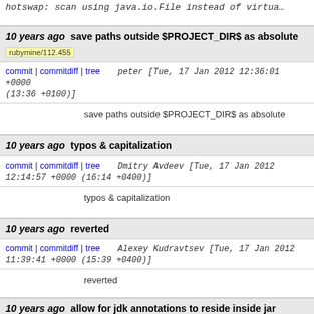hotswap: scan using java.io.File instead of virtual
10 years ago  save paths outside $PROJECT_DIR$ as absolute  rubymine/112.455
commit | commitdiff | tree  peter [Tue, 17 Jan 2012 12:36:01 +0000 (13:36 +0100)]
save paths outside $PROJECT_DIR$ as absolute
10 years ago  typos & capitalization
commit | commitdiff | tree  Dmitry Avdeev [Tue, 17 Jan 2012 12:14:57 +0000 (16:14 +0400)]
typos & capitalization
10 years ago  reverted
commit | commitdiff | tree  Alexey Kudravtsev [Tue, 17 Jan 2012 11:39:41 +0000 (15:39 +0400)]
reverted
10 years ago  allow for jdk annotations to reside inside jar
commit | commitdiff | tree  Alexey Kudravtsev [Tue, 17 Jan 2012